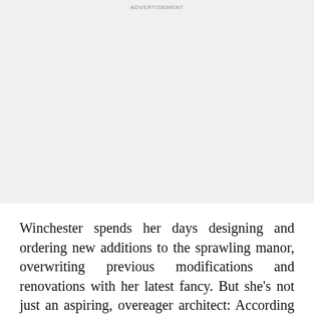[Figure (other): Advertisement placeholder area with light grey background and 'ADVERTISEMENT' label at top center]
Winchester spends her days designing and ordering new additions to the sprawling manor, overwriting previous modifications and renovations with her latest fancy. But she's not just an aspiring, overeager architect: According to Deadline, “She is building a prison, an asylum for